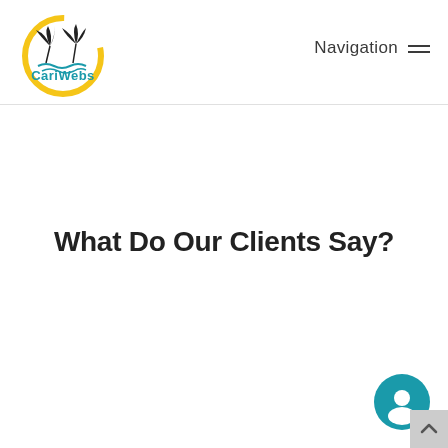[Figure (logo): CariWebs logo: circular design with yellow arc, palm trees silhouette, blue wavy lines representing water, with 'CariWebs' text in teal/blue below the imagery]
Navigation
What Do Our Clients Say?
[Figure (illustration): Teal circular chat/message button icon in bottom right corner]
[Figure (illustration): Gray scroll-to-top button with upward arrow, bottom right corner]